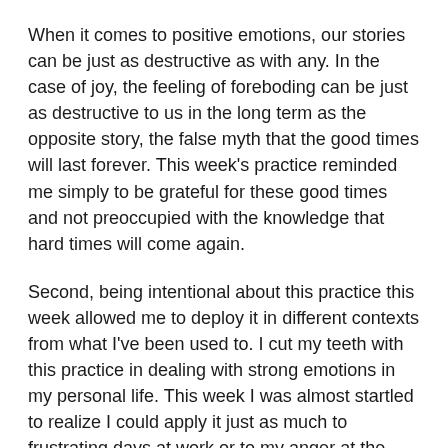When it comes to positive emotions, our stories can be just as destructive as with any. In the case of joy, the feeling of foreboding can be just as destructive to us in the long term as the opposite story, the false myth that the good times will last forever. This week's practice reminded me simply to be grateful for these good times and not preoccupied with the knowledge that hard times will come again.
Second, being intentional about this practice this week allowed me to deploy it in different contexts from what I've been used to. I cut my teeth with this practice in dealing with strong emotions in my personal life. This week I was almost startled to realize I could apply it just as much to frustrating days at work or to my anger at the political news of the day.
And, for the most part, it worked.